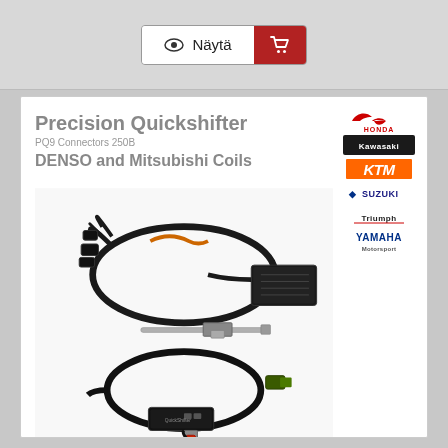[Figure (screenshot): Navigation bar with 'Näytä' (view) button and shopping cart button in red]
[Figure (photo): Product card showing Precision Quickshifter PQ9 Connectors 250B with DENSO and Mitsubishi Coils. Photo shows wiring harness, control module, sensor and cable assembly. Brand logos on right: Honda, Kawasaki, KTM, Suzuki, Triumph, Yamaha.]